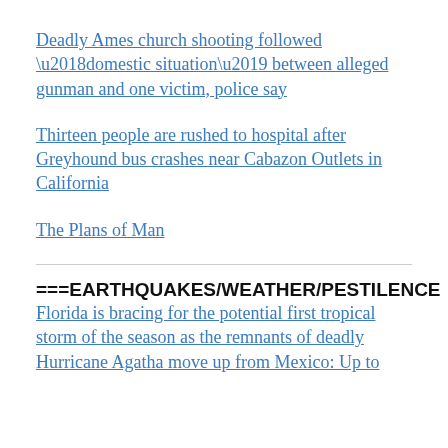Deadly Ames church shooting followed ‘domestic situation’ between alleged gunman and one victim, police say
Thirteen people are rushed to hospital after Greyhound bus crashes near Cabazon Outlets in California
The Plans of Man
===EARTHQUAKES/WEATHER/PESTILENCE
Florida is bracing for the potential first tropical storm of the season as the remnants of deadly Hurricane Agatha move up from Mexico: Up to